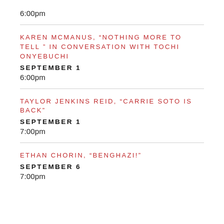6:00pm
KAREN MCMANUS, “NOTHING MORE TO TELL” IN CONVERSATION WITH TOCHI ONYEBUCHI
SEPTEMBER 1
6:00pm
TAYLOR JENKINS REID, “CARRIE SOTO IS BACK”
SEPTEMBER 1
7:00pm
ETHAN CHORIN, “BENGHAZI!”
SEPTEMBER 6
7:00pm